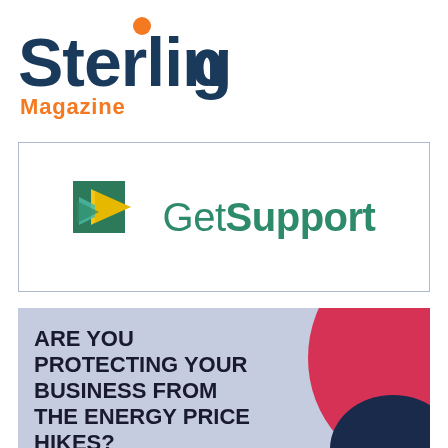[Figure (logo): Sterling Magazine logo with dark navy bold 'Sterling' text, orange dot on the i, and orange 'Magazine' text below]
[Figure (logo): Get Support logo with a triangular arrow icon in green and yellow, and 'Get Support' text in teal green]
ARE YOU PROTECTING YOUR BUSINESS FROM THE ENERGY PRICE HIKES?
To add to the pain of the price increases, there are no price caps put in place for the business sector.
Act quickly to soften the impact, you can do